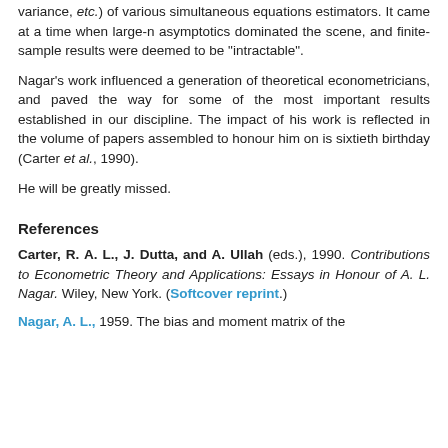variance, etc.) of various simultaneous equations estimators. It came at a time when large-n asymptotics dominated the scene, and finite-sample results were deemed to be "intractable".
Nagar's work influenced a generation of theoretical econometricians, and paved the way for some of the most important results established in our discipline. The impact of his work is reflected in the volume of papers assembled to honour him on is sixtieth birthday (Carter et al., 1990).
He will be greatly missed.
References
Carter, R. A. L., J. Dutta, and A. Ullah (eds.), 1990. Contributions to Econometric Theory and Applications: Essays in Honour of A. L. Nagar. Wiley, New York. (Softcover reprint.)
Nagar, A. L., 1959. The bias and moment matrix of the